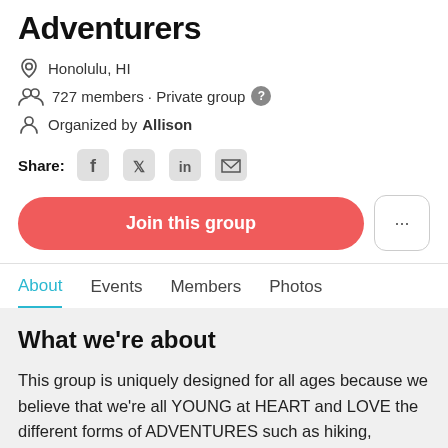Adventurers
Honolulu, HI
727 members · Private group
Organized by Allison
Share:
Join this group
About   Events   Members   Photos
What we're about
This group is uniquely designed for all ages because we believe that we're all YOUNG at HEART and LOVE the different forms of ADVENTURES such as hiking, snorkeling, sailing, kayaking, boating, sightseeing,